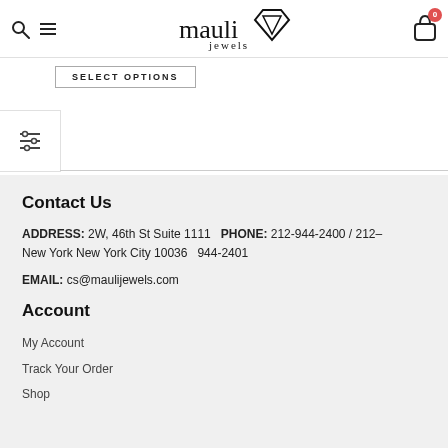mauli jewels — navigation header with search, menu, logo, and cart
SELECT OPTIONS
[Figure (other): Filter/sliders icon button]
Contact Us
ADDRESS: 2W, 46th St Suite 1111 New York New York City 10036   PHONE: 212-944-2400 / 212-944-2401
EMAIL: cs@maulijewels.com
Account
My Account
Track Your Order
Shop